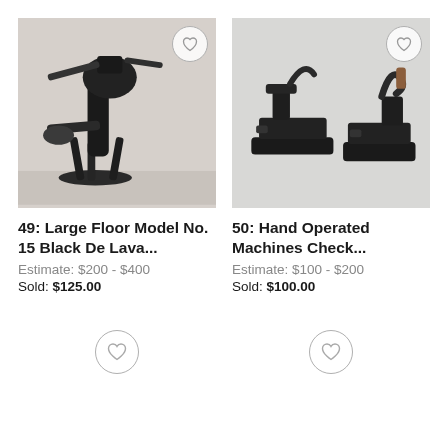[Figure (photo): Large black floor model No. 15 De Lava machine on legs, antique industrial equipment]
49: Large Floor Model No. 15 Black De Lava...
Estimate: $200 - $400
Sold: $125.00
[Figure (photo): Hand operated machines check writer/embosser, two black antique cast iron devices]
50: Hand Operated Machines Check...
Estimate: $100 - $200
Sold: $100.00